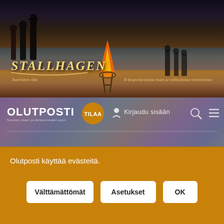[Figure (photo): Stallhagen beer advertisement banner showing silhouettes of people around a fire on a beach at sunset with sea in background. Logo text 'STALLHAGEN Saariston olut' on left, tagline 'K-kaupoista kautta maan ja valikoiduista ravintoloista.' on right.]
[Figure (screenshot): Olutposti website header/navbar showing OLUTPOSTI logo, golden circular TILAA button, user icon with 'Kirjaudu sisään' text, search icon, and hamburger menu icon. Colorful blurred background with purple overlay.]
Olutposti käyttää evästeitä.
Välttämättömät
Asetukset
OK